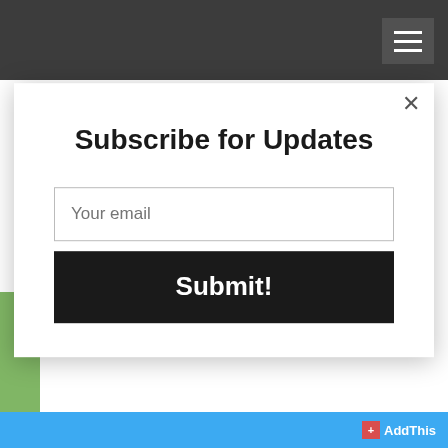extreme and unreadable migraines.
The procedure has been approved but it won't take place for
[Figure (screenshot): Subscribe for Updates modal dialog with email input field and Submit button, overlaid on a webpage with a dark navigation bar and article text about migraines]
AddThis